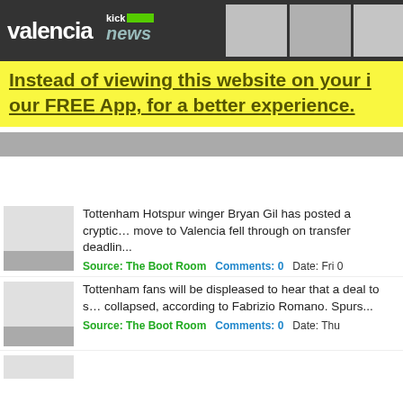valencia kick news
Instead of viewing this website on your i... our FREE App, for a better experience.
Tottenham Hotspur winger Bryan Gil has posted a cryptic... move to Valencia fell through on transfer deadlin...
Source: The Boot Room   Comments: 0   Date: Fri 0
Tottenham fans will be displeased to hear that a deal to s... collapsed, according to Fabrizio Romano. Spurs...
Source: The Boot Room   Comments: 0   Date: Thu